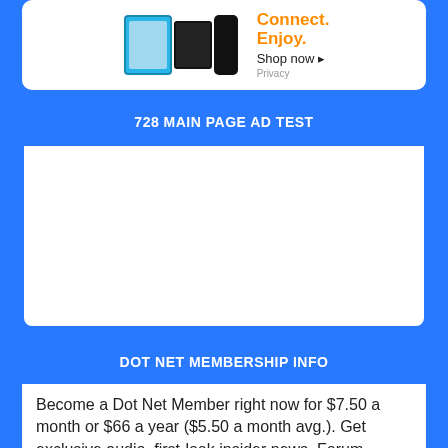[Figure (illustration): Amazon advertisement showing tablets and speaker device with orange text 'Connect. Enjoy. Shop now' and Privacy link]
728 MAIN PAGE AD TEST
[Figure (other): Empty white ad placeholder box]
DOT NET MEMBERSHIP INFO
Become a Dot Net Member right now for $7.50 a month or $66 a year ($5.50 a month avg.). Get exclusive audio, first-look insider news, Forum access, member